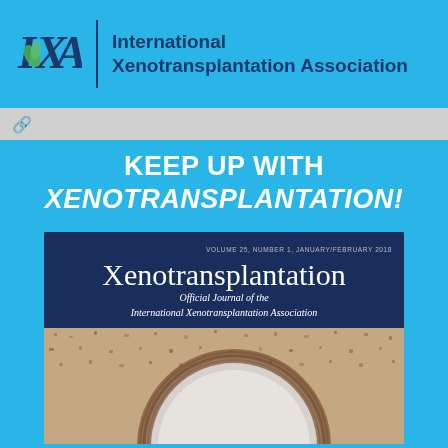[Figure (logo): International Xenotransplantation Association logo with IXA letters and green leaf, blue divider line, and organization name in dark blue on light blue background]
KEEP UP WITH XENOTRANSPLANTATION!
[Figure (illustration): Journal cover of Xenotransplantation - Official Journal of the International Xenotransplantation Association, Volume 25 Number 1 January/February 2018, with microscopy image showing tissue cross-section with circular void]